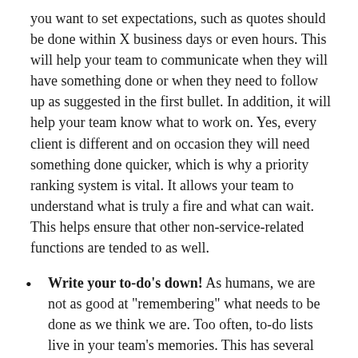you want to set expectations, such as quotes should be done within X business days or even hours. This will help your team to communicate when they will have something done or when they need to follow up as suggested in the first bullet. In addition, it will help your team know what to work on. Yes, every client is different and on occasion they will need something done quicker, which is why a priority ranking system is vital. It allows your team to understand what is truly a fire and what can wait. This helps ensure that other non-service-related functions are tended to as well.
Write your to-do's down! As humans, we are not as good at "remembering" what needs to be done as we think we are. Too often, to-do lists live in your team's memories. This has several flaws. First, if the to-do list for the office is private to individuals it makes it difficult to prioritize the tasks. Your "team" is operating as a team, but as individuals. So, any prioritization of tasks is done without the big picture. When to-do's are kept collectively, the big picture...